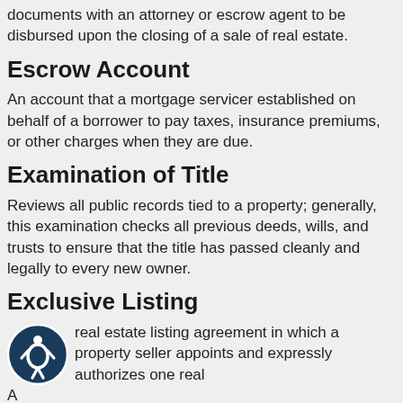documents with an attorney or escrow agent to be disbursed upon the closing of a sale of real estate.
Escrow Account
An account that a mortgage servicer established on behalf of a borrower to pay taxes, insurance premiums, or other charges when they are due.
Examination of Title
Reviews all public records tied to a property; generally, this examination checks all previous deeds, wills, and trusts to ensure that the title has passed cleanly and legally to every new owner.
Exclusive Listing
A real estate listing agreement in which a property seller appoints and expressly authorizes one real